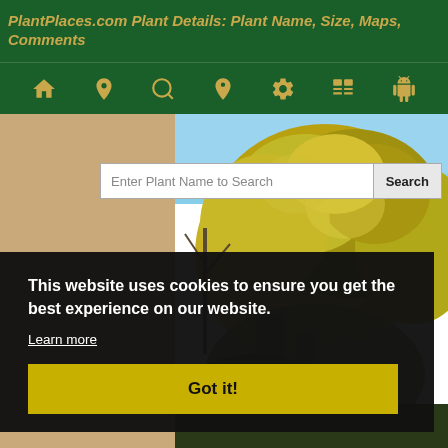PlantPlaces.com Plant Details: Plant Name, Size, Maps, Comments
[Figure (screenshot): Navigation icon bar with home, location pin, search, map pin, settings, list, and Android icons on dark green background]
[Figure (screenshot): Search bar with text 'Enter Plant Name to Search' and a Search button]
[Figure (photo): Photograph of a large tree with bright yellow-green foliage against a blue sky]
This website uses cookies to ensure you get the best experience on our website.
Learn more
Got it!